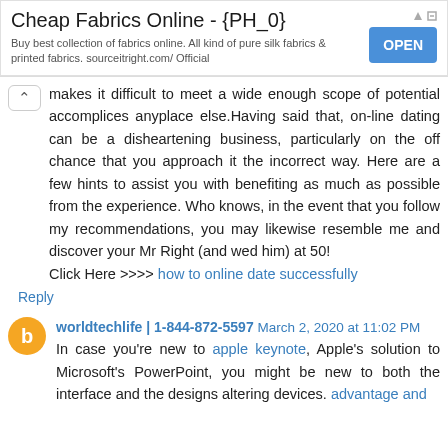[Figure (other): Advertisement banner for Cheap Fabrics Online with an OPEN button]
makes it difficult to meet a wide enough scope of potential accomplices anyplace else.Having said that, on-line dating can be a disheartening business, particularly on the off chance that you approach it the incorrect way. Here are a few hints to assist you with benefiting as much as possible from the experience. Who knows, in the event that you follow my recommendations, you may likewise resemble me and discover your Mr Right (and wed him) at 50!
Click Here >>>> how to online date successfully
Reply
worldtechlife | 1-844-872-5597 March 2, 2020 at 11:02 PM
In case you're new to apple keynote, Apple's solution to Microsoft's PowerPoint, you might be new to both the interface and the designs altering devices. advantage and